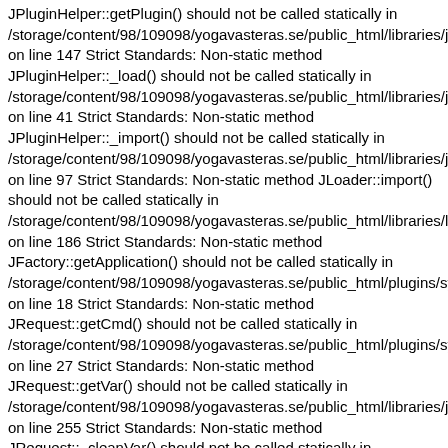JPluginHelper::getPlugin() should not be called statically in /storage/content/98/109098/yogavasteras.se/public_html/libraries/joor on line 147 Strict Standards: Non-static method JPluginHelper::_load() should not be called statically in /storage/content/98/109098/yogavasteras.se/public_html/libraries/joor on line 41 Strict Standards: Non-static method JPluginHelper::_import() should not be called statically in /storage/content/98/109098/yogavasteras.se/public_html/libraries/joor on line 97 Strict Standards: Non-static method JLoader::import() should not be called statically in /storage/content/98/109098/yogavasteras.se/public_html/libraries/load on line 186 Strict Standards: Non-static method JFactory::getApplication() should not be called statically in /storage/content/98/109098/yogavasteras.se/public_html/plugins/syste on line 18 Strict Standards: Non-static method JRequest::getCmd() should not be called statically in /storage/content/98/109098/yogavasteras.se/public_html/plugins/syste on line 27 Strict Standards: Non-static method JRequest::getVar() should not be called statically in /storage/content/98/109098/yogavasteras.se/public_html/libraries/joor on line 255 Strict Standards: Non-static method JRequest::_cleanVar() should not be called statically in /storage/content/98/109098/yogavasteras.se/public_html/libraries/joor on line 151 Strict Standards: Non-static method JFilterInput::getInstance() should not be called statically in /storage/content/98/109098/yogavasteras.se/public_html/libraries/